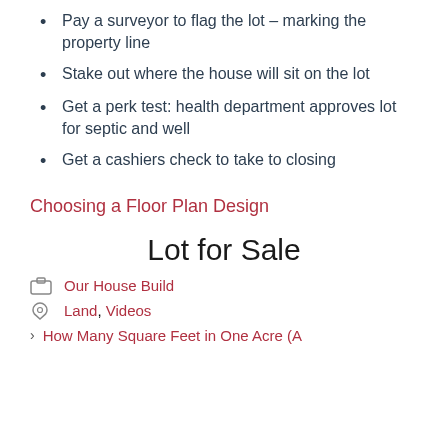Pay a surveyor to flag the lot – marking the property line
Stake out where the house will sit on the lot
Get a perk test: health department approves lot for septic and well
Get a cashiers check to take to closing
Choosing a Floor Plan Design
Lot for Sale
Our House Build
Land, Videos
How Many Square Feet in One Acre (A